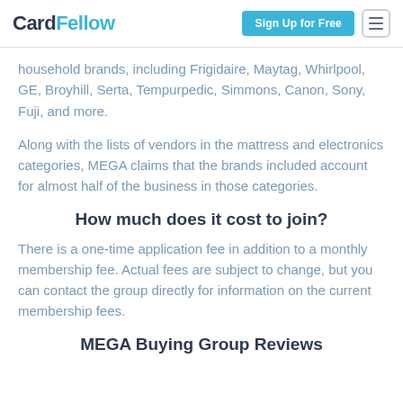CardFellow | Sign Up for Free
household brands, including Frigidaire, Maytag, Whirlpool, GE, Broyhill, Serta, Tempurpedic, Simmons, Canon, Sony, Fuji, and more.
Along with the lists of vendors in the mattress and electronics categories, MEGA claims that the brands included account for almost half of the business in those categories.
How much does it cost to join?
There is a one-time application fee in addition to a monthly membership fee. Actual fees are subject to change, but you can contact the group directly for information on the current membership fees.
MEGA Buying Group Reviews